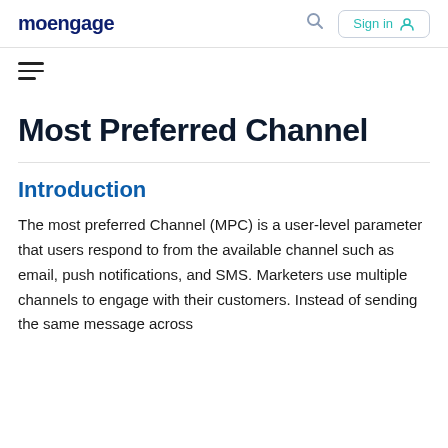moengage   Sign in
Most Preferred Channel
Introduction
The most preferred Channel (MPC) is a user-level parameter that users respond to from the available channel such as email, push notifications, and SMS. Marketers use multiple channels to engage with their customers. Instead of sending the same message across